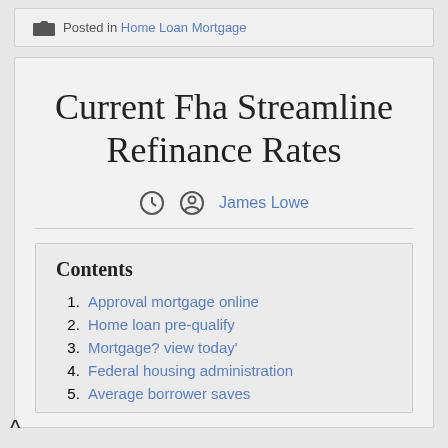Posted in Home Loan Mortgage
Current Fha Streamline Refinance Rates
James Lowe
Contents
Approval mortgage online
Home loan pre-qualify
Mortgage? view today'
Federal housing administration
Average borrower saves